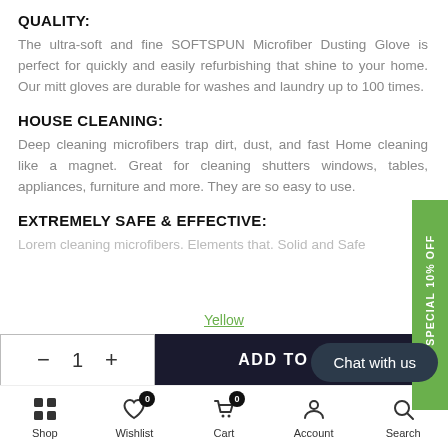QUALITY:
The ultra-soft and fine SOFTSPUN Microfiber Dusting Glove is perfect for quickly and easily refurbishing that shine to your home. Our mitt gloves are durable for washes and laundry up to 100 times.
HOUSE CLEANING:
Deep cleaning microfibers trap dirt, dust, and fast Home cleaning like a magnet. Great for cleaning shutters windows, tables, appliances, furniture and more. They are so easy to use.
EXTREMELY SAFE & EFFECTIVE:
Yellow
GET SPECIAL 10% OFF
- 1 + ADD TO CART
Chat with us
Shop  Wishlist 0  Cart 0  Account  Search